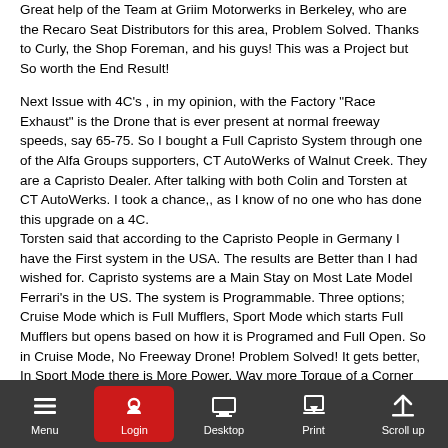Great help of the Team at Griim Motorwerks in Berkeley, who are the Recaro Seat Distributors for this area, Problem Solved. Thanks to Curly, the Shop Foreman, and his guys! This was a Project but So worth the End Result!
Next Issue with 4C's , in my opinion, with the Factory "Race Exhaust" is the Drone that is ever present at normal freeway speeds, say 65-75. So I bought a Full Capristo System through one of the Alfa Groups supporters, CT AutoWerks of Walnut Creek. They are a Capristo Dealer. After talking with both Colin and Torsten at CT AutoWerks.  I took a chance,, as I know of no one who has done this upgrade on  a 4C.
Torsten said that according to the Capristo People in Germany I have the First system in the USA.  The results are Better than I had wished for. Capristo systems are a Main Stay on Most Late Model Ferrari's in the US. The system is Programmable. Three options; Cruise Mode which is Full Mufflers, Sport Mode which starts Full Mufflers but opens based on how it is Programed and Full Open.  So in Cruise Mode, No Freeway Drone! Problem Solved!  It gets better, In Sport Mode there is More Power. Way more Torque of a Corner and more top end too. Plus the Pipes now are Center Exit, which I think Improves the look.  I would be happy to meet up with any of the Groups Members or any of their friends if someone is interested in having a look.
Thanks for reading, Scott Sellers
[Figure (screenshot): Mobile browser toolbar with Menu, Login (red button), Desktop, Print, and Scroll up icons on a dark gray background]